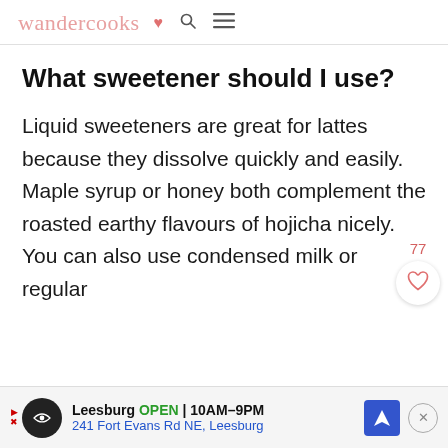wandercooks ♥ 🔍 ≡
What sweetener should I use?
Liquid sweeteners are great for lattes because they dissolve quickly and easily. Maple syrup or honey both complement the roasted earthy flavours of hojicha nicely. You can also use condensed milk or regular
77
Leesburg OPEN 10AM–9PM 241 Fort Evans Rd NE, Leesburg